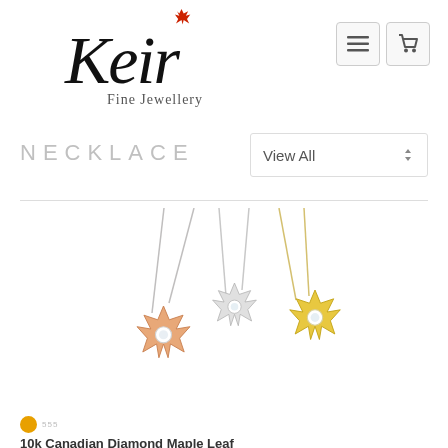[Figure (logo): Keir Fine Jewellery logo — decorative cursive 'Keir' with small red maple leaf accent, and 'Fine Jewellery' in serif below]
[Figure (screenshot): Navigation buttons: hamburger menu icon and shopping cart icon, both in light gray bordered squares]
NECKLACE
[Figure (other): Dropdown selector showing 'View All' with up-down arrow]
[Figure (photo): Three maple leaf pendant necklaces shown hanging: rose gold, white/silver, and yellow gold, each with a diamond center stone]
[Figure (other): Dot navigation indicator with active orange dot and small label]
10k Canadian Diamond Maple Leaf...